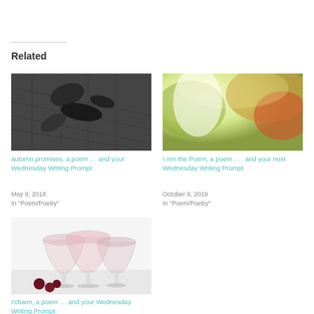Related
[Figure (photo): Black and white photo of fallen autumn leaves on a tiled surface]
autumn promises, a poem … and your Wednesday Writing Prompt
May 9, 2018
In "Poem/Poetry"
[Figure (photo): Colorful autumn forest scene with bright light filtering through foliage]
I Am the Poem, a poem . . . and your next Wednesday Writing Prompt
October 9, 2019
In "Poem/Poetry"
[Figure (photo): Pink cocktail glasses with cherries on a white surface]
I'chaim, a poem … and your Wednesday Writing Prompt